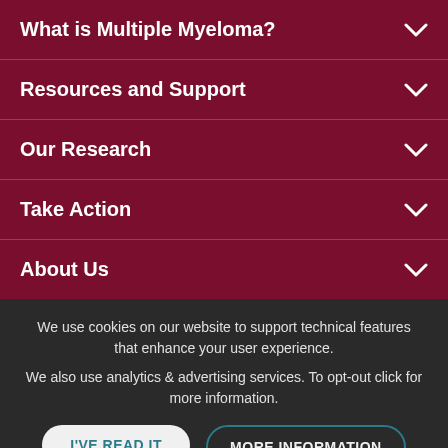What is Multiple Myeloma?
Resources and Support
Our Research
Take Action
About Us
We use cookies on our website to support technical features that enhance your user experience.
We also use analytics & advertising services. To opt-out click for more information.
I'VE READ IT
MORE INFORMATION